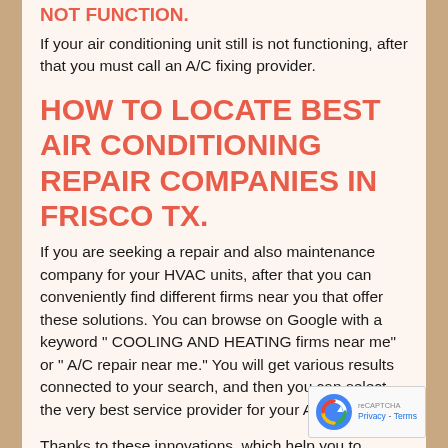NOT FUNCTION.
If your air conditioning unit still is not functioning, after that you must call an A/C fixing provider.
HOW TO LOCATE BEST AIR CONDITIONING REPAIR COMPANIES IN FRISCO TX.
If you are seeking a repair and also maintenance company for your HVAC units, after that you can conveniently find different firms near you that offer these solutions. You can browse on Google with a keyword " COOLING AND HEATING firms near me" or " A/C repair near me." You will get various results connected to your search, and then you can select the very best service provider for your AC device.
Thanks to these innovations, which help you to disc... different fixing company with a easy search strategy. You